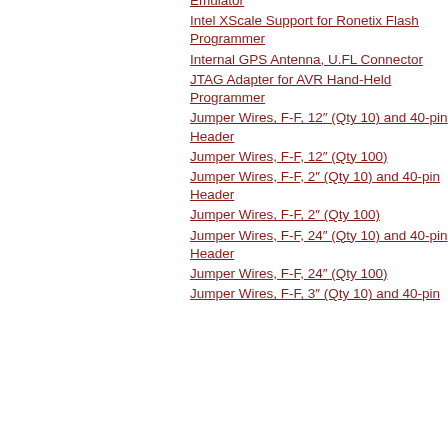Emulator
Intel XScale Support for Ronetix Flash Programmer
Internal GPS Antenna, U.FL Connector
JTAG Adapter for AVR Hand-Held Programmer
Jumper Wires, F-F, 12" (Qty 10) and 40-pin Header
Jumper Wires, F-F, 12" (Qty 100)
Jumper Wires, F-F, 2" (Qty 10) and 40-pin Header
Jumper Wires, F-F, 2" (Qty 100)
Jumper Wires, F-F, 24" (Qty 10) and 40-pin Header
Jumper Wires, F-F, 24" (Qty 100)
Jumper Wires, F-F, 3" (Qty 10) and 40-pin